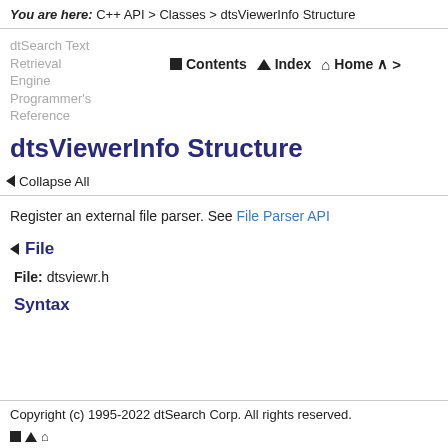You are here: C++ API > Classes > dtsViewerInfo Structure
dtSearch Text Retrieval Engine Programmer's Reference
Contents  Index  Home
dtsViewerInfo Structure
Collapse All
Register an external file parser. See File Parser API
File
File: dtsviewr.h
Syntax
Copyright (c) 1995-2022 dtSearch Corp. All rights reserved.